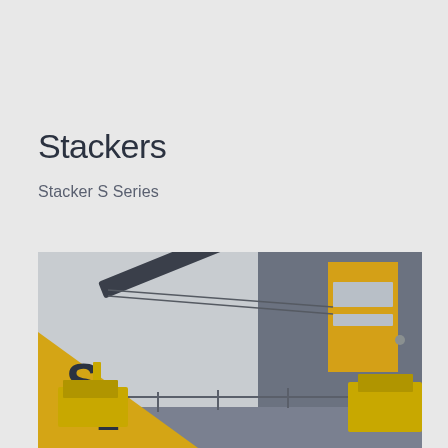Stackers
Stacker S Series
[Figure (photo): Industrial stacker machine (S1 series) shown outdoors near a yellow industrial building. The machine has a long elevated conveyor belt with yellow and dark grey/black components. A yellow triangle/wedge logo with 'S1' lettering is overlaid in the bottom-left corner of the image.]